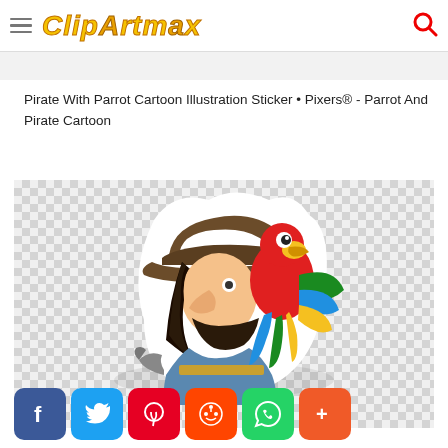CLIPARTMAX
Pirate With Parrot Cartoon Illustration Sticker • Pixers® - Parrot And Pirate Cartoon
[Figure (illustration): Cartoon illustration of a pirate with a large nose and beard wearing a brown hat, with a colorful red and blue macaw parrot on his shoulder, on a transparent checkered background]
[Figure (other): Social media share buttons: Facebook, Twitter, Pinterest, Reddit, WhatsApp, and More]